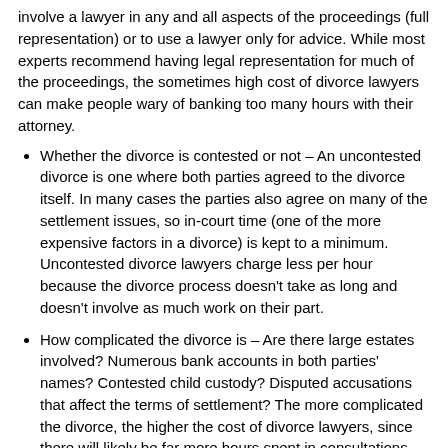involve a lawyer in any and all aspects of the proceedings (full representation) or to use a lawyer only for advice. While most experts recommend having legal representation for much of the proceedings, the sometimes high cost of divorce lawyers can make people wary of banking too many hours with their attorney.
Whether the divorce is contested or not – An uncontested divorce is one where both parties agreed to the divorce itself. In many cases the parties also agree on many of the settlement issues, so in-court time (one of the more expensive factors in a divorce) is kept to a minimum. Uncontested divorce lawyers charge less per hour because the divorce process doesn't take as long and doesn't involve as much work on their part.
How complicated the divorce is – Are there large estates involved? Numerous bank accounts in both parties' names? Contested child custody? Disputed accusations that affect the terms of settlement? The more complicated the divorce, the higher the cost of divorce lawyers, since there will likely be far more hours spent in consultations, negotiations, and in-court appearances.
Divorce is never a happy occasion, but if you do find yourself